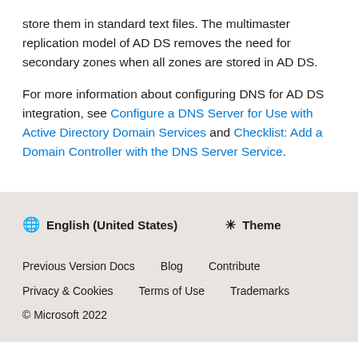store them in standard text files. The multimaster replication model of AD DS removes the need for secondary zones when all zones are stored in AD DS.
For more information about configuring DNS for AD DS integration, see Configure a DNS Server for Use with Active Directory Domain Services and Checklist: Add a Domain Controller with the DNS Server Service.
🌐 English (United States)   ☀ Theme
Previous Version Docs   Blog   Contribute
Privacy & Cookies   Terms of Use   Trademarks
© Microsoft 2022